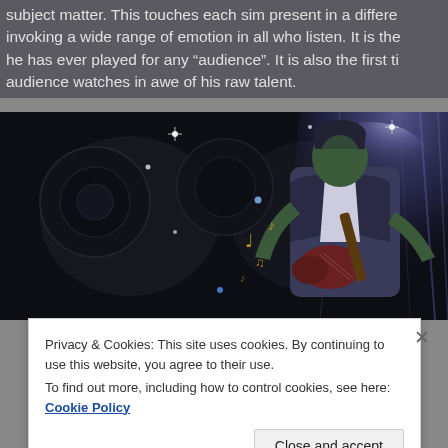subject matter. This touches each sim present in a different way, invoking a wide range of emotion in all who listen. It is the he has ever played for any "audience". It is also the first ti audience watches in awe of his raw talent.
[Figure (screenshot): Screenshot from The Sims game showing a sim character playing an electric guitar on a dark stage with spotlights, musical notes floating around, and sparkles/light effects.]
Privacy & Cookies: This site uses cookies. By continuing to use this website, you agree to their use.
To find out more, including how to control cookies, see here: Cookie Policy